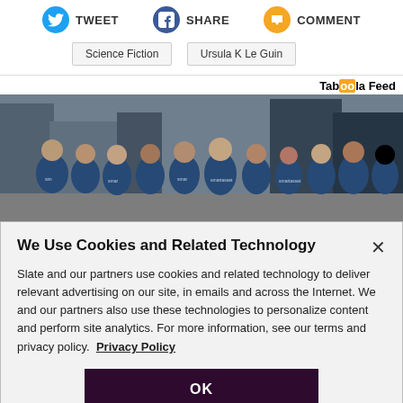[Figure (infographic): Social sharing buttons row: Twitter (TWEET), Facebook (SHARE), and a comment/discussion button (COMMENT) with circular icons in blue, dark blue, and orange respectively.]
Science Fiction
Ursula K Le Guin
Taboola Feed
[Figure (photo): Group photo of people wearing blue 'SmartAsset' t-shirts standing on a city street.]
We Use Cookies and Related Technology
Slate and our partners use cookies and related technology to deliver relevant advertising on our site, in emails and across the Internet. We and our partners also use these technologies to personalize content and perform site analytics. For more information, see our terms and privacy policy. Privacy Policy
OK